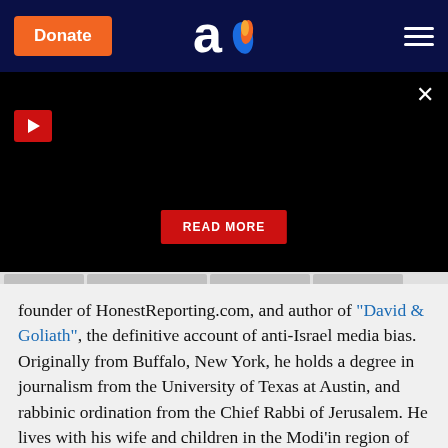[Figure (screenshot): Aish.com website navigation bar with orange Donate button, Aish logo (letter a with flame), and hamburger menu on dark navy background]
[Figure (screenshot): Black video area with red play button triangle top-left, X close button top-right, and red READ MORE button centered bottom]
founder of HonestReporting.com, and author of "David & Goliath", the definitive account of anti-Israel media bias. Originally from Buffalo, New York, he holds a degree in journalism from the University of Texas at Austin, and rabbinic ordination from the Chief Rabbi of Jerusalem. He lives with his wife and children in the Modi'in region of Israel.